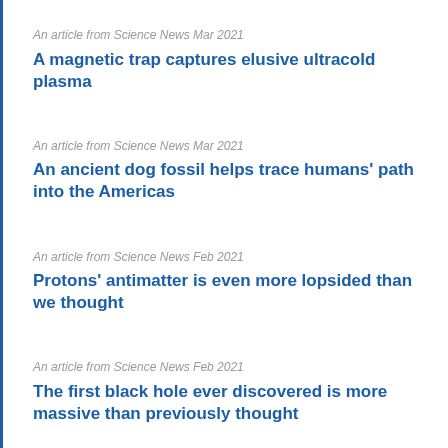An article from Science News Mar 2021
A magnetic trap captures elusive ultracold plasma
An article from Science News Mar 2021
An ancient dog fossil helps trace humans' path into the Americas
An article from Science News Feb 2021
Protons' antimatter is even more lopsided than we thought
An article from Science News Feb 2021
The first black hole ever discovered is more massive than previously thought